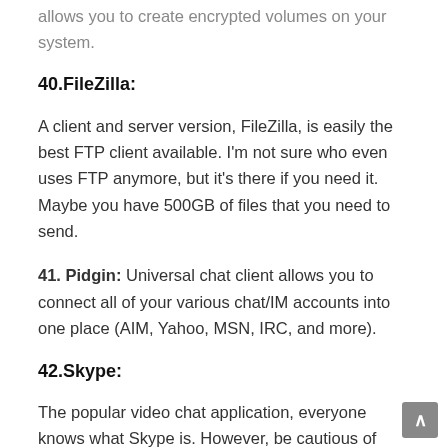allows you to create encrypted volumes on your system.
40.FileZilla:
A client and server version, FileZilla, is easily the best FTP client available. I'm not sure who even uses FTP anymore, but it's there if you need it. Maybe you have 500GB of files that you need to send.
41. Pidgin: Universal chat client allows you to connect all of your various chat/IM accounts into one place (AIM, Yahoo, MSN, IRC, and more).
42.Skype:
The popular video chat application, everyone knows what Skype is. However, be cautious of installing it on your system. We suggest using whatever video chat